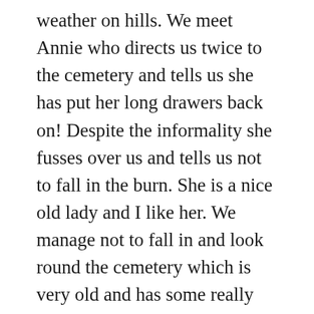weather on hills. We meet Annie who directs us twice to the cemetery and tells us she has put her long drawers back on! Despite the informality she fusses over us and tells us not to fall in the burn. She is a nice old lady and I like her. We manage not to fall in and look round the cemetery which is very old and has some really old stones including what I think is a Templar one. It is on a raised section of land tucked away at the base of the hill with a fine sea view. We wander back and see the man from the shop who is standing in his doorway reading, so we know the light is not back on. He says his son has left us some kindling but he must be really dopey as he has left the bag next to the money we left out for him! On return I